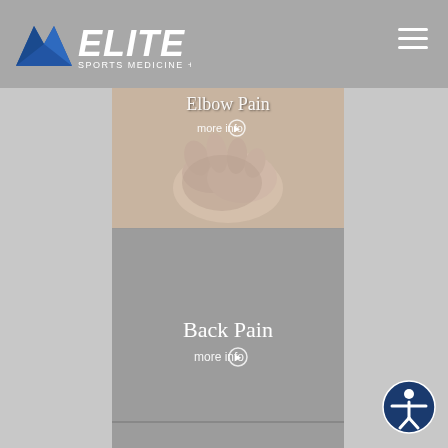Elite Sports Medicine + Orthopedics
[Figure (screenshot): Elbow Pain card with image of hands holding elbow, partially cropped at top. Text reads 'Elbow Pain' and 'more info' with arrow icon.]
[Figure (screenshot): Back Pain card with gray background. Text reads 'Back Pain' and 'more info' with arrow icon.]
[Figure (screenshot): Third card partially visible at bottom, gray background.]
[Figure (logo): Accessibility icon button in bottom right corner - circular button with person/wheelchair symbol.]